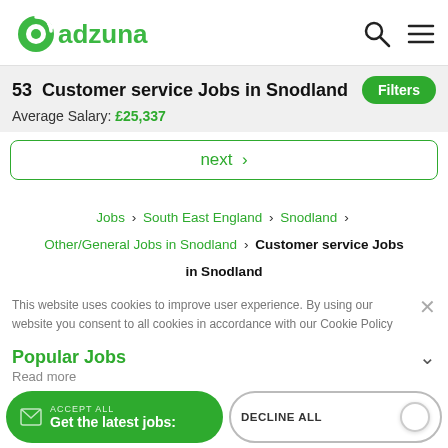adzuna
53 Customer service Jobs in Snodland
Average Salary: £25,337
next ›
Jobs › South East England › Snodland › Other/General Jobs in Snodland › Customer service Jobs in Snodland
This website uses cookies to improve user experience. By using our website you consent to all cookies in accordance with our Cookie Policy
Popular Jobs
Read more
SHOW DETAILS
Jobseekers
ACCEPT ALL
Get the latest jobs:
DECLINE ALL